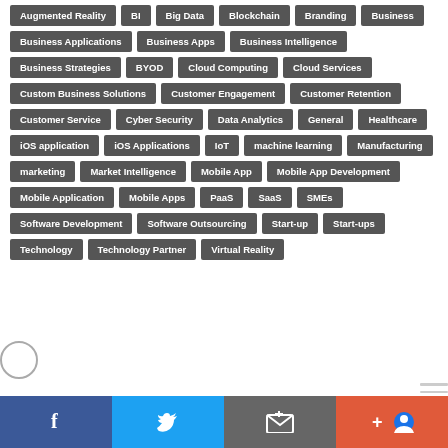Augmented Reality
BI
Big Data
Blockchain
Branding
Business
Business Applications
Business Apps
Business Intelligence
Business Strategies
BYOD
Cloud Computing
Cloud Services
Custom Business Solutions
Customer Engagement
Customer Retention
Customer Service
Cyber Security
Data Analytics
General
Healthcare
iOS application
iOS Applications
IoT
machine learning
Manufacturing
marketing
Market Intelligence
Mobile App
Mobile App Development
Mobile Application
Mobile Apps
PaaS
SaaS
SMEs
Software Development
Software Outsourcing
Start-up
Start-ups
Technology
Technology Partner
Virtual Reality
Footer with logo, hamburger menu, and social media buttons: Facebook, Twitter, Email, Google+